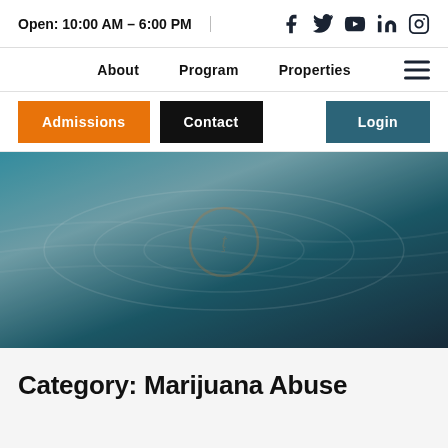Open: 10:00 AM – 6:00 PM
About   Program   Properties
Admissions   Contact   Login
[Figure (photo): Teal/blue ocean water hero image with subtle ripple/wave texture and a faint circular logo overlay in the center]
Category: Marijuana Abuse